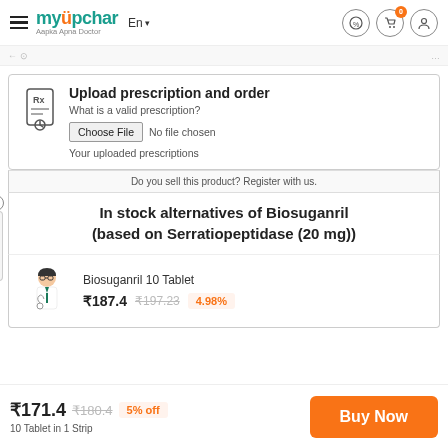myUpchar — Aapka Apna Doctor | En | Language selector | Icons
Upload prescription and order
What is a valid prescription?
Choose File  No file chosen
Your uploaded prescriptions
Do you sell this product? Register with us.
In stock alternatives of Biosuganril (based on Serratiopeptidase (20 mg))
Biosuganril 10 Tablet
₹187.4  ₹197.23  4.98%
₹171.4  ₹180.4  5% off
10 Tablet in 1 Strip
Buy Now